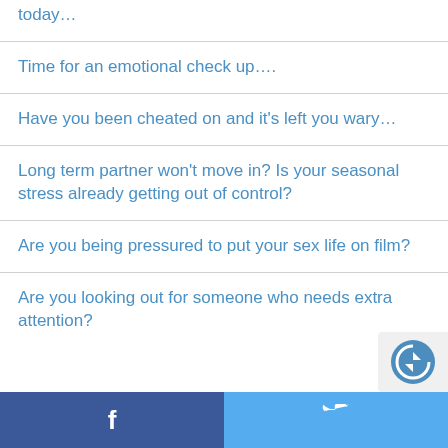today…
Time for an emotional check up….
Have you been cheated on and it's left you wary…
Long term partner won't move in? Is your seasonal stress already getting out of control?
Are you being pressured to put your sex life on film?
Are you looking out for someone who needs extra attention?
Facebook  Twitter